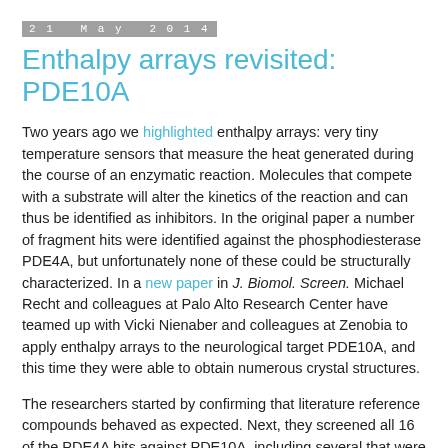21 May 2014
Enthalpy arrays revisited: PDE10A
Two years ago we highlighted enthalpy arrays: very tiny temperature sensors that measure the heat generated during the course of an enzymatic reaction. Molecules that compete with a substrate will alter the kinetics of the reaction and can thus be identified as inhibitors. In the original paper a number of fragment hits were identified against the phosphodiesterase PDE4A, but unfortunately none of these could be structurally characterized. In a new paper in J. Biomol. Screen. Michael Recht and colleagues at Palo Alto Research Center have teamed up with Vicki Nienaber and colleagues at Zenobia to apply enthalpy arrays to the neurological target PDE10A, and this time they were able to obtain numerous crystal structures.
The researchers started by confirming that literature reference compounds behaved as expected. Next, they screened all 16 of the PDE4A hits against PDE10A, including several that were quite weak against PDE4A itself. All of